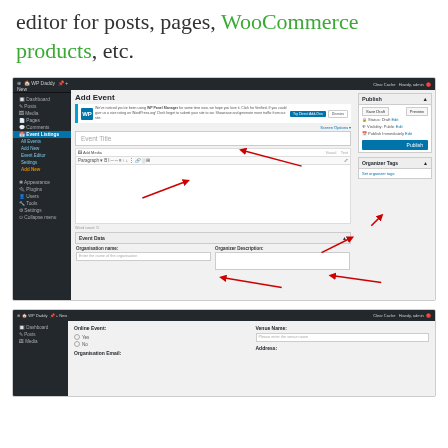editor for posts, pages, WooCommerce products, etc.
[Figure (screenshot): WordPress admin panel showing 'Add Event' editor screen with event title input, content editor toolbar, publish box, Organizer Tags panel, and Event Data section with Organisation name and Organizer Description fields. Red arrows point to various UI elements.]
[Figure (screenshot): WordPress admin panel showing a second portion of the event editor with Online Event field (Yes/No radio), Venue Name input, Organisation Email field, and Address field.]